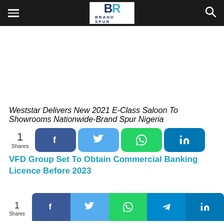Brand Spur Nigeria
Weststar Delivers New 2021 E-Class Saloon To Showrooms Nationwide-Brand Spur Nigeria
1 Shares
VFD Group Set To Obtain Commercial Banking Licence Before 2023
1 Shares